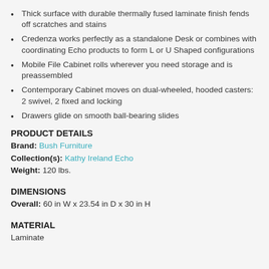Thick surface with durable thermally fused laminate finish fends off scratches and stains
Credenza works perfectly as a standalone Desk or combines with coordinating Echo products to form L or U Shaped configurations
Mobile File Cabinet rolls wherever you need storage and is preassembled
Contemporary Cabinet moves on dual-wheeled, hooded casters: 2 swivel, 2 fixed and locking
Drawers glide on smooth ball-bearing slides
PRODUCT DETAILS
Brand: Bush Furniture
Collection(s): Kathy Ireland Echo
Weight: 120 lbs.
DIMENSIONS
Overall: 60 in W x 23.54 in D x 30 in H
MATERIAL
Laminate